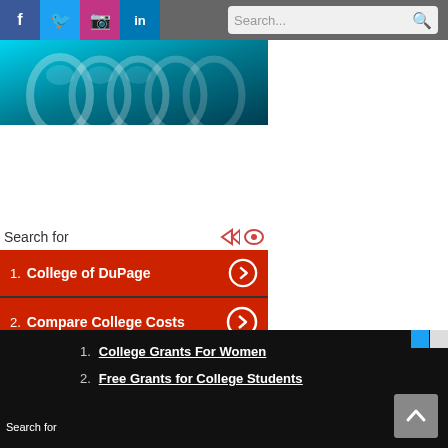Social media icons: Facebook, Twitter, Instagram, LinkedIn. Search bar.
[Figure (photo): Close-up photo of glass laboratory flasks/beakers with blue tint, top of page.]
Search for
1. College of DuPage
2. Compare College Costs
3. Best Colleges by State
4. College Savings Plans
Search for
1. College Grants For Women
2. Free Grants for College Students